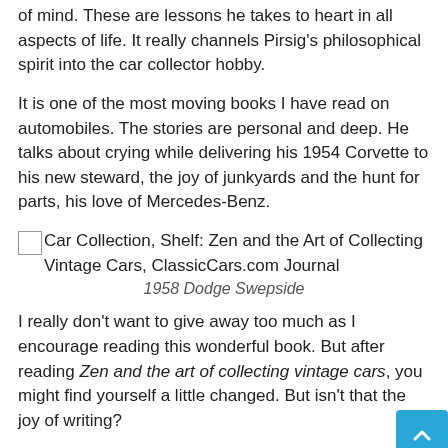of mind. These are lessons he takes to heart in all aspects of life. It really channels Pirsig's philosophical spirit into the car collector hobby.
It is one of the most moving books I have read on automobiles. The stories are personal and deep. He talks about crying while delivering his 1954 Corvette to his new steward, the joy of junkyards and the hunt for parts, his love of Mercedes-Benz.
[Figure (photo): Image placeholder for Car Collection, Shelf: Zen and the Art of Collecting Vintage Cars, ClassicCars.com Journal]
1958 Dodge Swepside
I really don't want to give away too much as I encourage reading this wonderful book. But after reading Zen and the art of collecting vintage cars, you might find yourself a little changed. But isn't that the joy of writing?
$ 25.00
|  | Zen and the Art of Collecting Old Cars: |